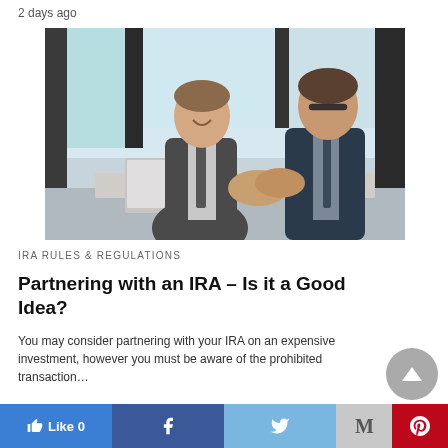2 days ago
[Figure (photo): Two businessmen in suits shaking hands across a desk with a laptop, smiling, in a modern office setting]
IRA RULES & REGULATIONS
Partnering with an IRA – Is it a Good Idea?
You may consider partnering with your IRA on an expensive investment, however you must be aware of the prohibited transaction…